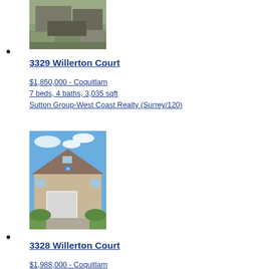[Figure (photo): Exterior photo of house at 3329 Willerton Court, showing driveway with parked cars and hedge]
3329 Willerton Court
$1,850,000 - Coquitlam
7 beds, 4 baths, 3,035 sqft
Sutton Group-West Coast Realty (Surrey/120)
3329 Willerton Court
$1,850,000 - Coquitlam
7 beds, 4 baths, 3,035 sqft
Sutton Group-West Coast Realty (Surrey/120)
[Figure (photo): Exterior photo of house at 3328 Willerton Court, showing large two-story home with garage and green lawn under blue sky]
3328 Willerton Court
$1,988,000 - Coquitlam
8 beds, 6 baths, 4,514 sqft
Sutton Group - 1st West Realty
3328 Willerton Court
$1,988,000 - Coquitlam
8 beds, 6 baths, 4,514 sqft
Sutton Group - 1st West Realty